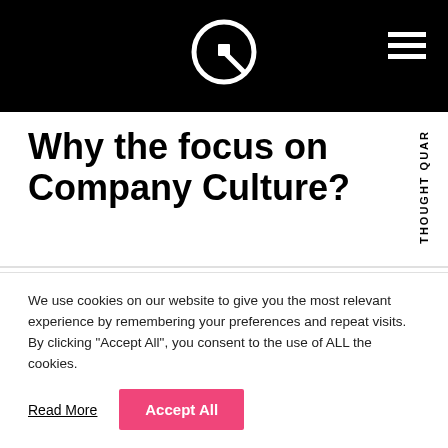Q (logo) — navigation header
Why the focus on Company Culture?
Following the news of being named as a Finalist in the Cornwall Business Awards Best
THOUGHT QUAR
We use cookies on our website to give you the most relevant experience by remembering your preferences and repeat visits. By clicking “Accept All”, you consent to the use of ALL the cookies.
Read More   Accept All